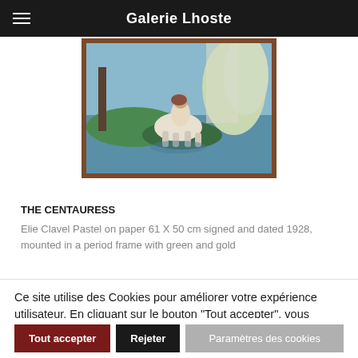Galerie Lhoste
[Figure (photo): Painting of a centauress (half-woman, half-horse figure) in a forest/water landscape setting, mounted in a dark wood frame with ornate border.]
THE CENTAURESS
Elie Clavel Pastel on paper 61 X 50 cm signed and dated 1928, mounted in a period frame with green and gold
Ce site utilise des Cookies pour améliorer votre expérience utilisateur. En cliquant sur le bouton "Tout accepter", vous autorisez l'utilisation de Cookies pour vous proposer des publicités ciblées adaptées à vos centres d'intérêts et réaliser des statistiques de visites.
Tout accepter
Rejeter
Paramètres des cookies